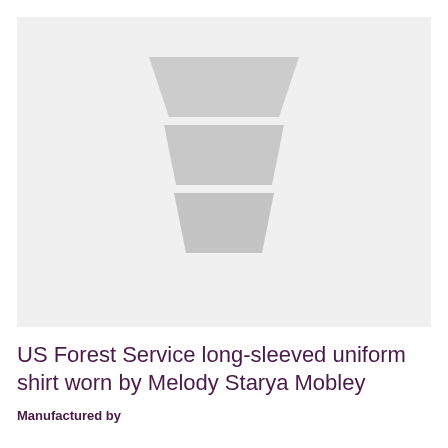[Figure (illustration): Placeholder image with a stylized stacked trapezoid keystone shape in gray on a light gray background, representing a product image placeholder for a US Forest Service uniform shirt.]
US Forest Service long-sleeved uniform shirt worn by Melody Starya Mobley
Manufactured by